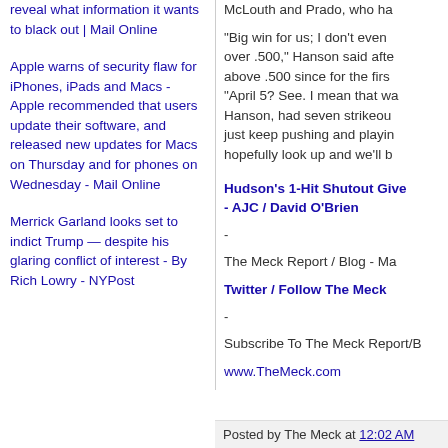reveal what information it wants to black out | Mail Online
Apple warns of security flaw for iPhones, iPads and Macs - Apple recommended that users update their software, and released new updates for Macs on Thursday and for phones on Wednesday - Mail Online
Merrick Garland looks set to indict Trump — despite his glaring conflict of interest - By Rich Lowry - NYPost
McLouth and Prado, who ha
“Big win for us; I don’t even over .500,” Hanson said afte above .500 since for the firs “April 5? See. I mean that wa Hanson, had seven strikeou just keep pushing and playin hopefully look up and we’ll b
Hudson's 1-Hit Shutout Give - AJC / David O'Brien
-
The Meck Report / Blog - Ma
Twitter / Follow The Meck
-
Subscribe To The Meck Report/B
www.TheMeck.com
Posted by The Meck at 12:02 AM